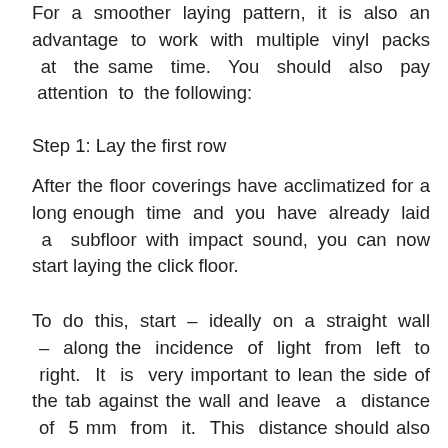For a smoother laying pattern, it is also an advantage to work with multiple vinyl packs at the same time. You should also pay attention to the following:
Step 1: Lay the first row
After the floor coverings have acclimatized for a long enough time and you have already laid a subfloor with impact sound, you can now start laying the click floor.
To do this, start – ideally on a straight wall – along the incidence of light from left to right. It is very important to lean the side of the tab against the wall and leave a distance of 5 mm from it. This distance should also exist on the front side from the wall. You can use spacer wedges for this. The front sides of